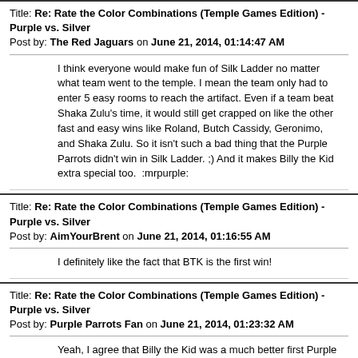Title: Re: Rate the Color Combinations (Temple Games Edition) - Purple vs. Silver
Post by: The Red Jaguars on June 21, 2014, 01:14:47 AM
I think everyone would make fun of Silk Ladder no matter what team went to the temple. I mean the team only had to enter 5 easy rooms to reach the artifact. Even if a team beat Shaka Zulu's time, it would still get crapped on like the other fast and easy wins like Roland, Butch Cassidy, Geronimo, and Shaka Zulu. So it isn't such a bad thing that the Purple Parrots didn't win in Silk Ladder. ;) And it makes Billy the Kid extra special too.  :mrpurple:
Title: Re: Rate the Color Combinations (Temple Games Edition) - Purple vs. Silver
Post by: AimYourBrent on June 21, 2014, 01:16:55 AM
I definitely like the fact that BTK is the first win!
Title: Re: Rate the Color Combinations (Temple Games Edition) - Purple vs. Silver
Post by: Purple Parrots Fan on June 21, 2014, 01:23:32 AM
Yeah, I agree that Billy the Kid was a much better first Purple Parrot win. Especially since it was SO close to the end of Season 2 by the time that episode happened. :o Silk Ladder